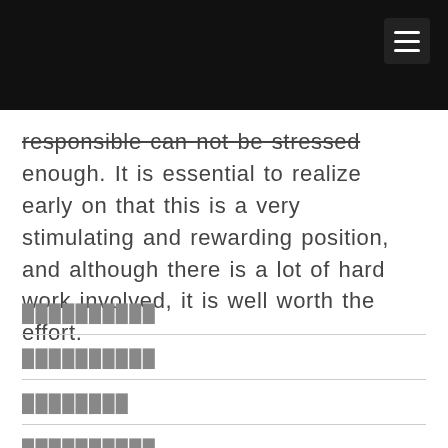responsible can not be stressed enough. It is essential to realize early on that this is a very stimulating and rewarding position, and although there is a lot of hard work involved, it is well worth the effort.
██████████
██████████
████████
██████████